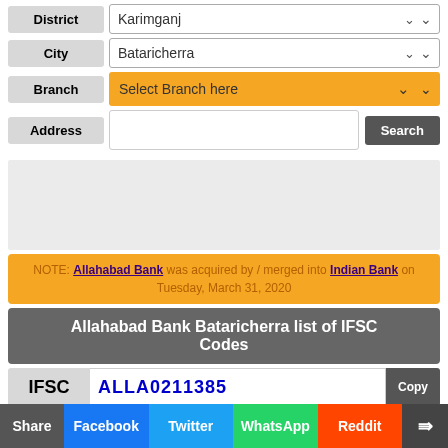District: Karimganj
City: Bataricherra
Branch: Select Branch here
Address: [input field] Search
[Figure (other): Advertisement/placeholder gray box]
NOTE: Allahabad Bank was acquired by / merged into Indian Bank on Tuesday, March 31, 2020
Allahabad Bank Bataricherra list of IFSC Codes
IFSC: ALLA0211385 Copy
Share | Facebook | Twitter | WhatsApp | Reddit